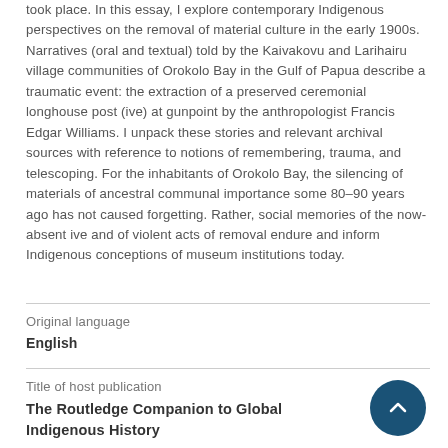took place. In this essay, I explore contemporary Indigenous perspectives on the removal of material culture in the early 1900s. Narratives (oral and textual) told by the Kaivakovu and Larihairu village communities of Orokolo Bay in the Gulf of Papua describe a traumatic event: the extraction of a preserved ceremonial longhouse post (ive) at gunpoint by the anthropologist Francis Edgar Williams. I unpack these stories and relevant archival sources with reference to notions of remembering, trauma, and telescoping. For the inhabitants of Orokolo Bay, the silencing of materials of ancestral communal importance some 80–90 years ago has not caused forgetting. Rather, social memories of the now-absent ive and of violent acts of removal endure and inform Indigenous conceptions of museum institutions today.
Original language
English
Title of host publication
The Routledge Companion to Global Indigenous History